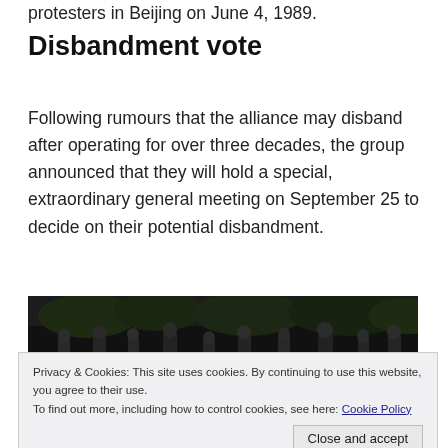protesters in Beijing on June 4, 1989.
Disbandment vote
Following rumours that the alliance may disband after operating for over three decades, the group announced that they will hold a special, extraordinary general meeting on September 25 to decide on their potential disbandment.
[Figure (photo): Nighttime photo of protesters/people gathered outdoors, partially visible, dark background]
Privacy & Cookies: This site uses cookies. By continuing to use this website, you agree to their use.
To find out more, including how to control cookies, see here: Cookie Policy
Close and accept
[Figure (photo): Partial bottom photo, candlelight vigil scene]